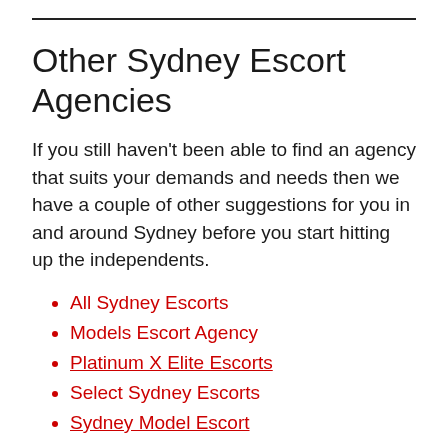Other Sydney Escort Agencies
If you still haven't been able to find an agency that suits your demands and needs then we have a couple of other suggestions for you in and around Sydney before you start hitting up the independents.
All Sydney Escorts
Models Escort Agency
Platinum X Elite Escorts
Select Sydney Escorts
Sydney Model Escort